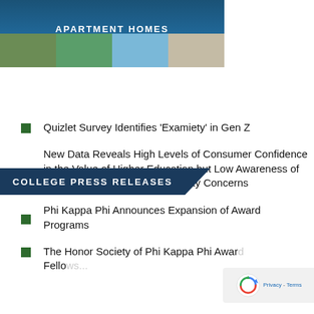[Figure (photo): Urban Place Apartment Homes banner advertisement with blue header showing phone number 813-988-0298, address 13401 N.50th Street, and website urbanplaceapts.com, with property photos below]
COLLEGE PRESS RELEASES
Quizlet Survey Identifies ‘Examiety’ in Gen Z
New Data Reveals High Levels of Consumer Confidence in the Value of Higher Education but Low Awareness of Financial Risk Amidst Affordability Concerns
Phi Kappa Phi Announces Expansion of Award Programs
The Honor Society of Phi Kappa Phi Award Fellows...